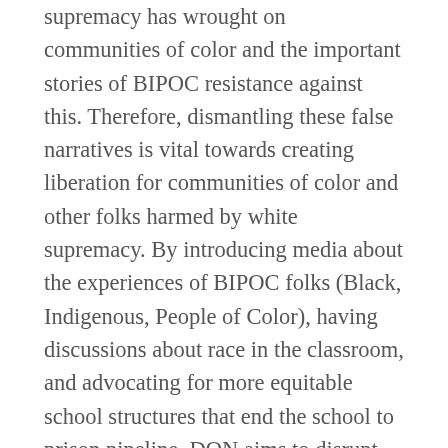supremacy has wrought on communities of color and the important stories of BIPOC resistance against this. Therefore, dismantling these false narratives is vital towards creating liberation for communities of color and other folks harmed by white supremacy. By introducing media about the experiences of BIPOC folks (Black, Indigenous, People of Color), having discussions about race in the classroom, and advocating for more equitable school structures that end the school to prison pipeline, DON aims to disrupt white supremacy and racism in schools. We hope that by experiencing diverse perspectives and questioning the norm, students will be enabled to act as agents of change in their communities and in adulthood.